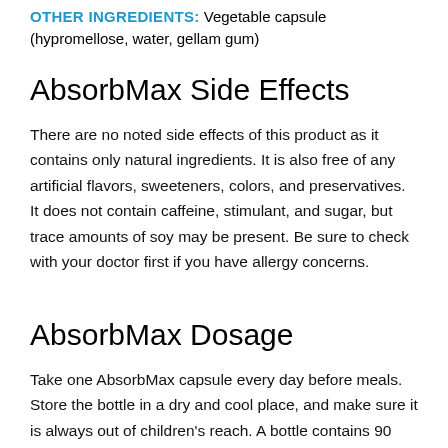OTHER INGREDIENTS: Vegetable capsule (hypromellose, water, gellam gum)
AbsorbMax Side Effects
There are no noted side effects of this product as it contains only natural ingredients. It is also free of any artificial flavors, sweeteners, colors, and preservatives. It does not contain caffeine, stimulant, and sugar, but trace amounts of soy may be present. Be sure to check with your doctor first if you have allergy concerns.
AbsorbMax Dosage
Take one AbsorbMax capsule every day before meals. Store the bottle in a dry and cool place, and make sure it is always out of children's reach. A bottle contains 90 capsules which